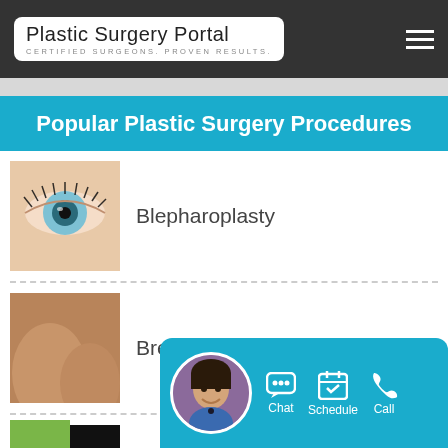Plastic Surgery Portal — CERTIFIED SURGEONS. PROVEN RESULTS.
Popular Plastic Surgery Procedures
Blepharoplasty
Breast Augmentation
Butt Lift
[Figure (screenshot): Chat/Schedule/Call widget bar with avatar photo of female consultant]